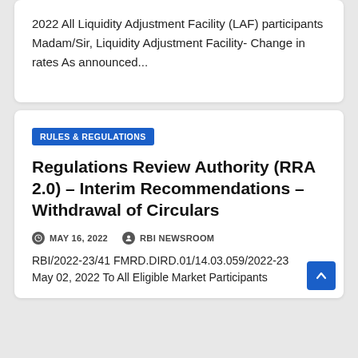2022 All Liquidity Adjustment Facility (LAF) participants Madam/Sir, Liquidity Adjustment Facility- Change in rates As announced...
RULES & REGULATIONS
Regulations Review Authority (RRA 2.0) – Interim Recommendations – Withdrawal of Circulars
MAY 16, 2022   RBI NEWSROOM
RBI/2022-23/41 FMRD.DIRD.01/14.03.059/2022-23 May 02, 2022 To All Eligible Market Participants